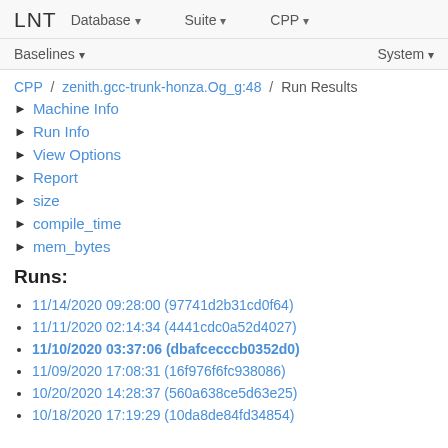LNT   Database ▾   Suite ▾   CPP ▾
Baselines ▾   System ▾
CPP / zenith.gcc-trunk-honza.Og_g:48 / Run Results
▶ Machine Info
▶ Run Info
▶ View Options
▶ Report
▶ size
▶ compile_time
▶ mem_bytes
Runs:
11/14/2020 09:28:00 (97741d2b31cd0f64)
11/11/2020 02:14:34 (4441cdc0a52d4027)
11/10/2020 03:37:06 (dbafcecccb0352d0)
11/09/2020 17:08:31 (16f976f6fc938086)
10/20/2020 14:28:37 (560a638ce5d63e25)
10/18/2020 17:19:29 (10da8de84fd34854)